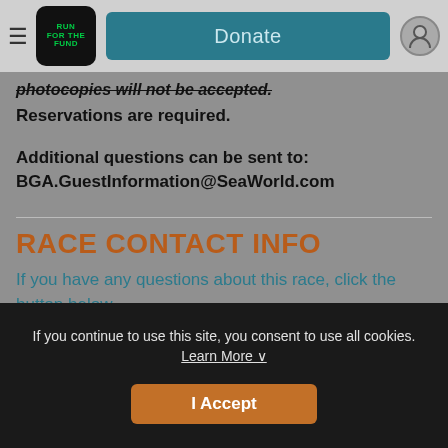Run for the Fund | Donate
photocopies will not be accepted. Reservations are required.
Additional questions can be sent to: BGA.GuestInformation@SeaWorld.com
RACE CONTACT INFO
If you have any questions about this race, click the button below.
If you continue to use this site, you consent to use all cookies. Learn More
I Accept